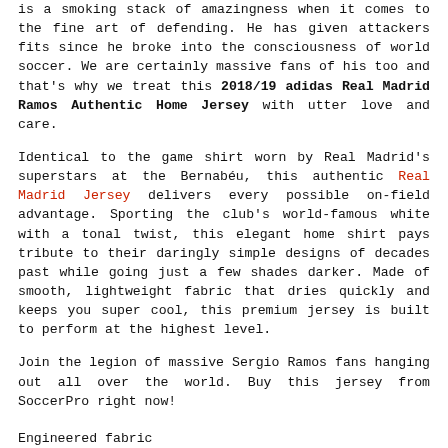is a smoking stack of amazingness when it comes to the fine art of defending. He has given attackers fits since he broke into the consciousness of world soccer. We are certainly massive fans of his too and that's why we treat this 2018/19 adidas Real Madrid Ramos Authentic Home Jersey with utter love and care.
Identical to the game shirt worn by Real Madrid's superstars at the Bernabéu, this authentic Real Madrid Jersey delivers every possible on-field advantage. Sporting the club's world-famous white with a tonal twist, this elegant home shirt pays tribute to their daringly simple designs of decades past while going just a few shades darker. Made of smooth, lightweight fabric that dries quickly and keeps you super cool, this premium jersey is built to perform at the highest level.
Join the legion of massive Sergio Ramos fans hanging out all over the world. Buy this jersey from SoccerPro right now!
Engineered fabric